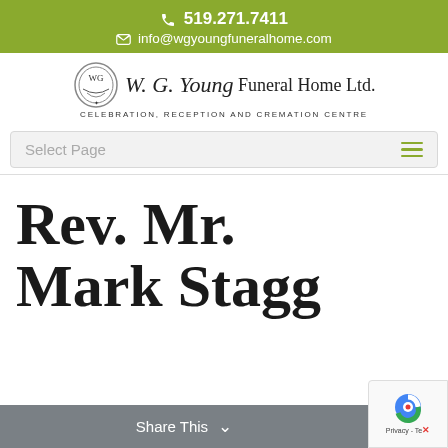📞 519.271.7411
✉ info@wgyoungfuneralhome.com
[Figure (logo): W.G. Young Funeral Home Ltd. logo with ornate emblem, script and serif text, subtitle: CELEBRATION, RECEPTION AND CREMATION CENTRE]
Select Page
Rev. Mr. Mark Stagg
Share This